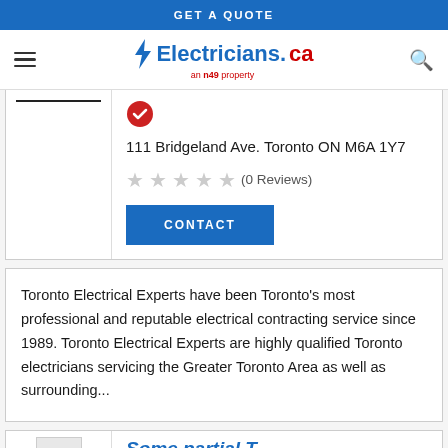GET A QUOTE
[Figure (logo): Electricians.ca logo with lightning bolt, blue and red text, 'an n49 property' subtitle]
111 Bridgeland Ave. Toronto ON M6A 1Y7
(0 Reviews)
CONTACT
Toronto Electrical Experts have been Toronto's most professional and reputable electrical contracting service since 1989. Toronto Electrical Experts are highly qualified Toronto electricians servicing the Greater Toronto Area as well as surrounding...